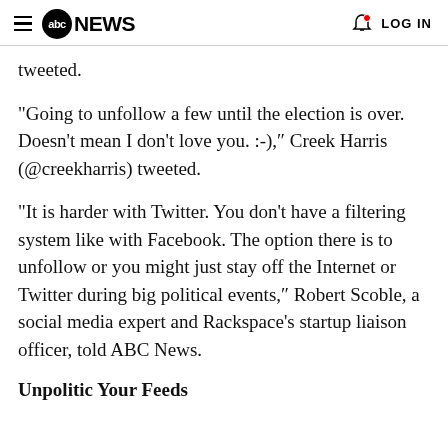abc NEWS  LOG IN
tweeted.
"Going to unfollow a few until the election is over. Doesn't mean I don't love you. :-)," Creek Harris (@creekharris) tweeted.
"It is harder with Twitter. You don't have a filtering system like with Facebook. The option there is to unfollow or you might just stay off the Internet or Twitter during big political events," Robert Scoble, a social media expert and Rackspace's startup liaison officer, told ABC News.
Unpolitic Your Feeds